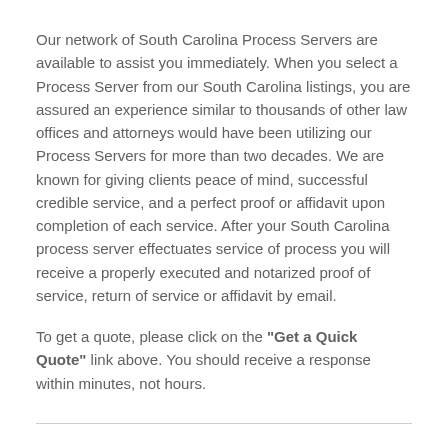Our network of South Carolina Process Servers are available to assist you immediately. When you select a Process Server from our South Carolina listings, you are assured an experience similar to thousands of other law offices and attorneys would have been utilizing our Process Servers for more than two decades. We are known for giving clients peace of mind, successful credible service, and a perfect proof or affidavit upon completion of each service. After your South Carolina process server effectuates service of process you will receive a properly executed and notarized proof of service, return of service or affidavit by email.
To get a quote, please click on the "Get a Quick Quote" link above. You should receive a response within minutes, not hours.
Listed below are the locations where you will find the best South Carolina Process Servers: